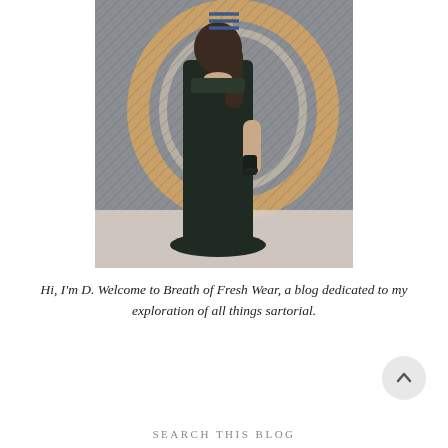[Figure (photo): A person wearing a black sleeveless maxi dress standing in front of a large decorative letter D with gold and silver tones on a patterned grey background.]
Hi, I'm D. Welcome to Breath of Fresh Wear, a blog dedicated to my exploration of all things sartorial.
SEARCH THIS BLOG